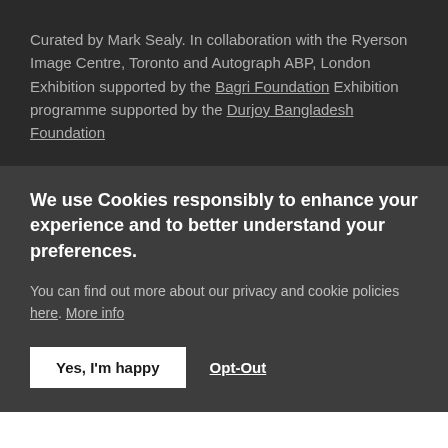Curated by Mark Sealy. In collaboration with the Ryerson Image Centre, Toronto and Autograph ABP, London Exhibition supported by the Bagri Foundation Exhibition programme supported by the Durjoy Bangladesh Foundation
We use Cookies responsibly to enhance your experience and to better understand your preferences.
You can find out more about our privacy and cookie policies here. More info